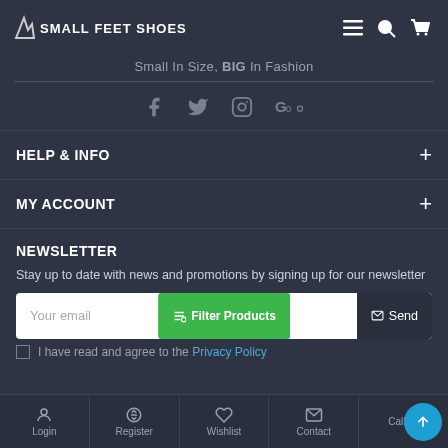SMALL FEET SHOES
Small In Size, BIG In Fashion
[Figure (infographic): Social media icons: Facebook, Twitter, Instagram, Google+]
HELP & INFO
MY ACCOUNT
NEWSLETTER
Stay up to date with news and promotions by signing up for our newsletter
Your email | Filter Products | Send
I have read and agree to the Privacy Policy
Login | Register | Wishlist | Contact | Call us